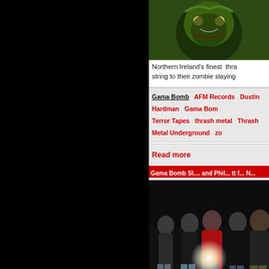[Figure (illustration): Green monster/zombie album art image, partially visible at top]
Northern Ireland's finest thra… string to their zombie slaying…
Gama Bomb  AFM Records  Dustin Hardman  Gama Bomb  Terror Tapes  thrash metal  Thrash Metal Underground  zom
Read more
Gama Bomb Sl... and Phil... tt f... N...
[Figure (photo): Band photo of Gama Bomb members standing together, flash from camera]
More songs about physics a…
Irish thrashers Gama Bomb untitled new album.
Gama Bomb  Earache  Riot  bizarre trouser accidents  th
Read more
Gama Bomb is Ter... and D... T...